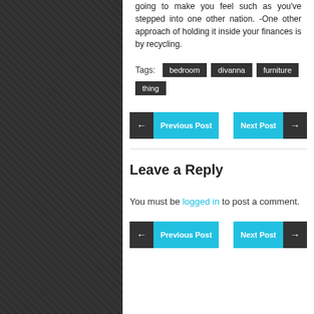going to make you feel such as you've stepped into one other nation. -One other approach of holding it inside your finances is by recycling.
Tags: bedroom divanna furniture thing
← Previous Post   Next Post →
Leave a Reply
You must be logged in to post a comment.
← Previous Post   Next Post →